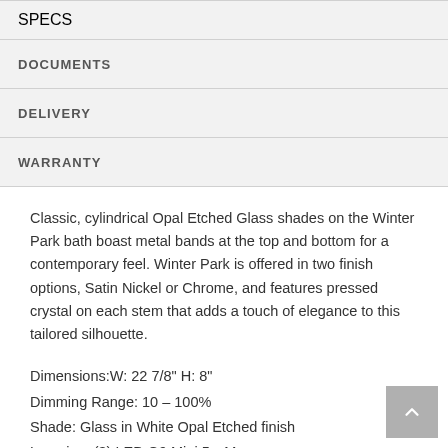SPECS
DOCUMENTS
DELIVERY
WARRANTY
Classic, cylindrical Opal Etched Glass shades on the Winter Park bath boast metal bands at the top and bottom for a contemporary feel. Winter Park is offered in two finish options, Satin Nickel or Chrome, and features pressed crystal on each stem that adds a touch of elegance to this tailored silhouette.
Dimensions:W: 22 7/8" H: 8"
Dimming Range: 10 – 100%
Shade: Glass in White Opal Etched finish
Lamping: (3) LED G9 Mini 5w Max.
Bulbs included.